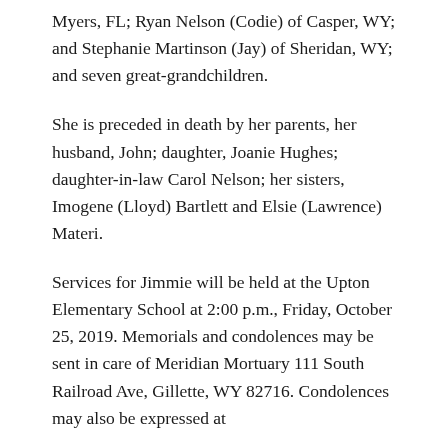Myers, FL; Ryan Nelson (Codie) of Casper, WY; and Stephanie Martinson (Jay) of Sheridan, WY; and seven great-grandchildren.
She is preceded in death by her parents, her husband, John; daughter, Joanie Hughes; daughter-in-law Carol Nelson; her sisters, Imogene (Lloyd) Bartlett and Elsie (Lawrence) Materi.
Services for Jimmie will be held at the Upton Elementary School at 2:00 p.m., Friday, October 25, 2019. Memorials and condolences may be sent in care of Meridian Mortuary 111 South Railroad Ave, Gillette, WY 82716. Condolences may also be expressed at